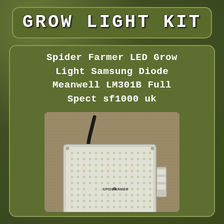GROW LIGHT KIT
Spider Farmer LED Grow Light Samsung Diode Meanwell LM301B Full Spect sf1000 uk
[Figure (photo): Photo of a Spider Farmer LED grow light panel (sf1000) with quantum board covered in Samsung diodes, power cord attached, on a tan/beige carpet background. The panel is white/light gray with 'SPIDER FARMER' branding visible. An eBay watermark appears at the bottom.]